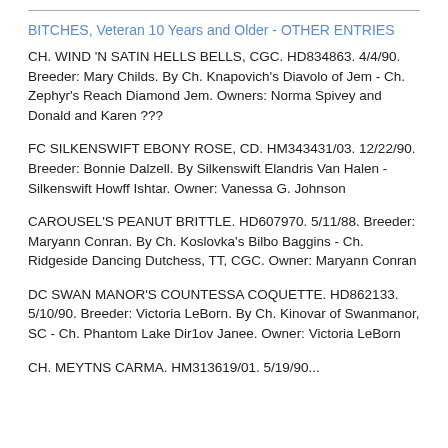BITCHES, Veteran 10 Years and Older - OTHER ENTRIES
CH. WIND 'N SATIN HELLS BELLS, CGC. HD834863. 4/4/90. Breeder: Mary Childs. By Ch. Knapovich's Diavolo of Jem - Ch. Zephyr's Reach Diamond Jem. Owners: Norma Spivey and Donald and Karen ???
FC SILKENSWIFT EBONY ROSE, CD. HM343431/03. 12/22/90. Breeder: Bonnie Dalzell. By Silkenswift Elandris Van Halen - Silkenswift Howff Ishtar. Owner: Vanessa G. Johnson
CAROUSEL'S PEANUT BRITTLE. HD607970. 5/11/88. Breeder: Maryann Conran. By Ch. Koslovka's Bilbo Baggins - Ch. Ridgeside Dancing Dutchess, TT, CGC. Owner: Maryann Conran
DC SWAN MANOR'S COUNTESSA COQUETTE. HD862133. 5/10/90. Breeder: Victoria LeBorn. By Ch. Kinovar of Swanmanor, SC - Ch. Phantom Lake Dir1ov Janee. Owner: Victoria LeBorn
CH. MEYTNS CARMA. HM313619/01. 5/19/90...